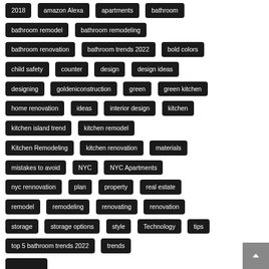Tags: 2018, amazon Alexa, apartments, bathroom, bathroom remodel, bathroom remodeling, bathroom renovation, bathroom trends 2022, bold colors, child safety, counter, design, design ideas, designing, goldeniconstruction, green, green kitchen, home renovation, ideas, interior design, kitchen, kitchen island trend, kitchen remodel, Kitchen Remodeling, kitchen renovation, materials, mistakes to avoid, NYC, NYC Apartments, nyc rennovation, plan, property, real estate, remodel, remodeling, renovating, renovation, storage, storage options, style, Technology, tips, top 5 bathroom trends 2022, trends